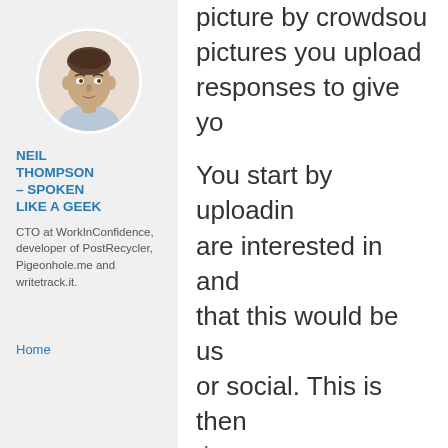[Figure (photo): Circular profile photo of Neil Thompson, a man in his 40s with short dark hair, wearing a light blue shirt, against a light background.]
NEIL THOMPSON – SPOKEN LIKE A GEEK
CTO at WorkInConfidence, developer of PostRecycler, Pigeonhole.me and writetrack.it.
Home
picture by crowdsou pictures you upload responses to give yo
You start by uploadin are interested in and that this would be us or social. This is then the rest
Desktop Apps Tags: LinkedIn, Photo, ph